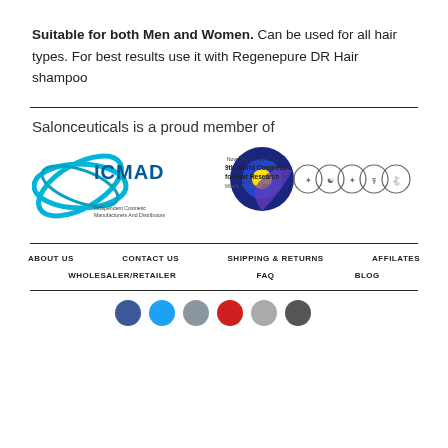Suitable for both Men and Women. Can be used for all hair types. For best results use it with Regenepure DR Hair shampoo
Salonceuticals is a proud member of
[Figure (logo): ICMAD (Independent Cosmetic Manufacturers And Distributors) logo and 9th World Congress for Hair Research event logo with various certification badge icons]
ABOUT US   CONTACT US   SHIPPING & RETURNS   AFFILATES   WHOLESALER/RETAILER   FAQ   BLOG
[Figure (other): Row of social media icon circles at the bottom of the page]